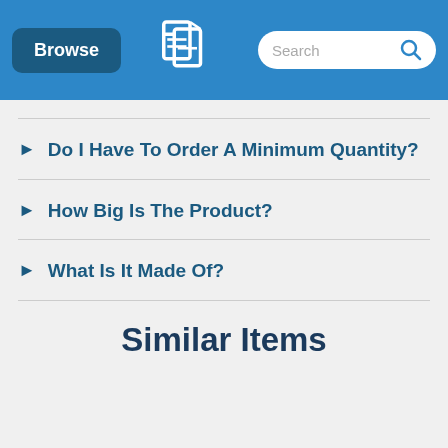Browse | [Logo] | Search
Do I Have To Order A Minimum Quantity?
How Big Is The Product?
What Is It Made Of?
Similar Items